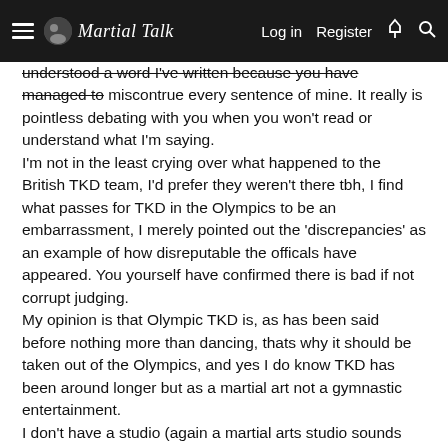Martial Talk — Log in  Register
understood a word I've written because you have managed to miscontrue every sentence of mine. It really is pointless debating with you when you won't read or understand what I'm saying.
I'm not in the least crying over what happened to the British TKD team, I'd prefer they weren't there tbh, I find what passes for TKD in the Olympics to be an embarrassment, I merely pointed out the 'discrepancies' as an example of how disreputable the officals have appeared. You yourself have confirmed there is bad if not corrupt judging.
My opinion is that Olympic TKD is, as has been said before nothing more than dancing, thats why it should be taken out of the Olympics, and yes I do know TKD has been around longer but as a martial art not a gymnastic entertainment.

I don't have a studio (again a martial arts studio sounds twee), in fact, I know of no one who does, we have clubs, gyms or schools here.

As for all judges being thought of as idiots